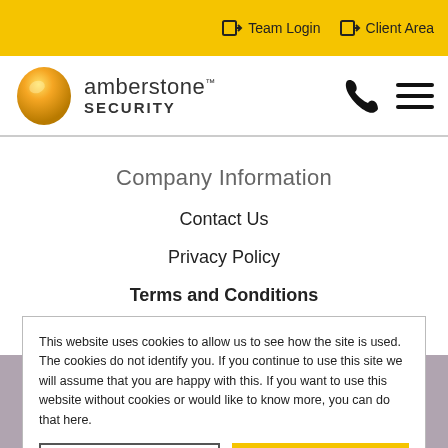Team Login | Client Area
[Figure (logo): Amberstone Security logo with amber gem icon and text]
Company Information
Contact Us
Privacy Policy
Terms and Conditions
Quality Policy
This website uses cookies to allow us to see how the site is used. The cookies do not identify you. If you continue to use this site we will assume that you are happy with this. If you want to use this website without cookies or would like to know more, you can do that here.
DENY | ALLOW COOKIES